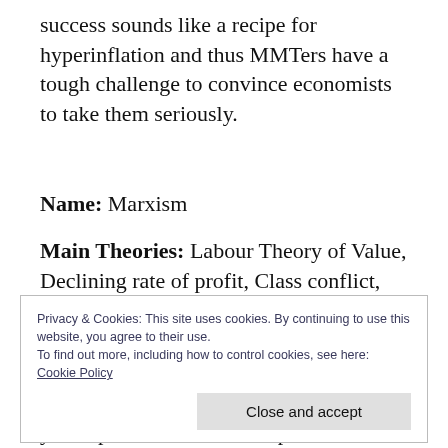success sounds like a recipe for hyperinflation and thus MMTers have a tough challenge to convince economists to take them seriously.
Name: Marxism
Main Theories: Labour Theory of Value, Declining rate of profit, Class conflict, Reserve Army of Unemployment, Surplus Value
Privacy & Cookies: This site uses cookies. By continuing to use this website, you agree to their use.
To find out more, including how to control cookies, see here:
Cookie Policy
Close and accept
you capitalism would collapse